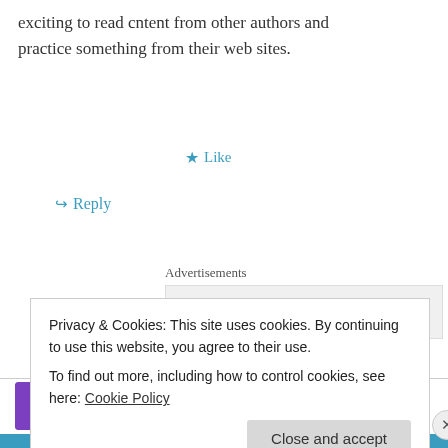exciting to read cntent from other authors and practice something from their web sites.
★ Like
↪ Reply
Advertisements
[Figure (screenshot): Advertisement banner showing P2 logo with text 'Getting your team on the']
motorola sb5101 on June 1, 2014 at 12:46 pm
Privacy & Cookies: This site uses cookies. By continuing to use this website, you agree to their use.
To find out more, including how to control cookies, see here: Cookie Policy
Close and accept